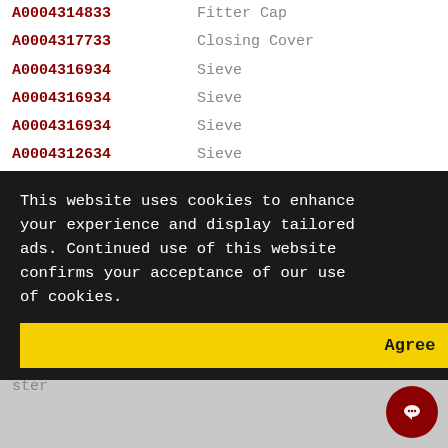A0004314833  Fitter Cap
A0004317733  Closing Cover
A0004316934  Sieve
A0004316934  Sieve
A0004316934  Sieve
A0004312634  Sieve
A0004312634  Sieve
A0049977948  Sealing Ring
A0049977948  Sealing Ring
A0049977948  Sealing Ring
A0049973245  Sealing Ring
A0049973245  Sealing Ring
A0004302087  Repair Kit (Brake Master ...ster
This website uses cookies to enhance your experience and display tailored ads. Continued use of this website confirms your acceptance of our use of cookies.
Agree